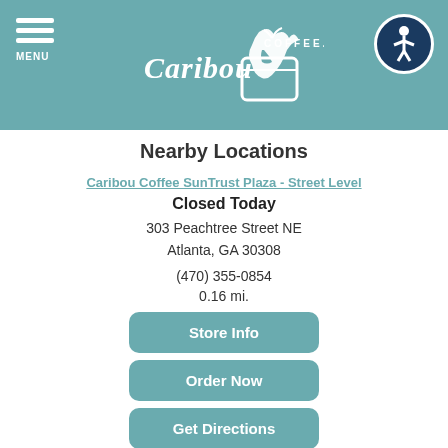Caribou Coffee - MENU (navigation header)
Nearby Locations
Caribou Coffee SunTrust Plaza - Street Level
Closed Today
303 Peachtree Street NE
Atlanta, GA 30308
(470) 355-0854
0.16 mi.
Store Info
Order Now
Get Directions
Caribou Coffee SunTrust Garden - Bridge Level